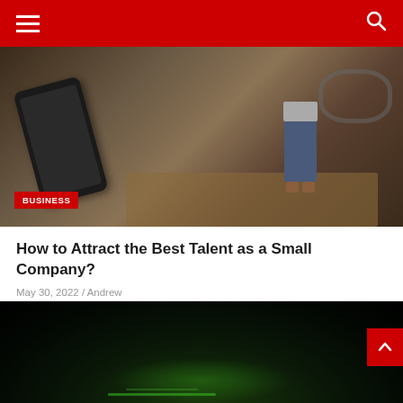Navigation bar with hamburger menu and search icon
[Figure (photo): Hero image showing a smartphone lying on a wooden surface and a person sitting against a step holding a laptop with face obscured, large eyeglasses visible in background]
BUSINESS
How to Attract the Best Talent as a Small Company?
May 30, 2022 / Andrew
[Figure (photo): Dark background image partially visible, appears to show a racing car with green accents at the bottom, with a red scroll-to-top button overlay]